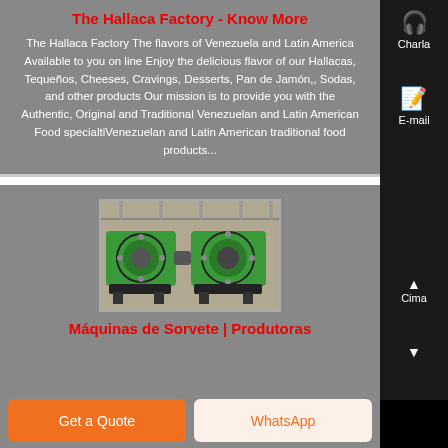The Hallaca Factory - Know More
The Hallaca Factory The flavors of Venezuela and Latin America Available to you on line Enjoy the delicious flavor of our Hallacas, Tequeños, Cheeses, Cravings, Desserts, Pan de Jamón,, Sodas, and other products Our mission is to provide you with the Authentic, Original and Traditional Venezuelan and Latin American Food specialtiVenezuelan and Latin American traditional food products...
[Figure (photo): Green industrial machines (possibly ice cream makers or industrial equipment) in a factory setting]
Máquinas de Sorvete | Produtoras